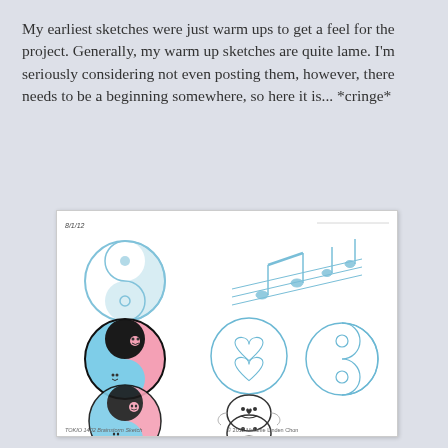My earliest sketches were just warm ups to get a feel for the project. Generally, my warm up sketches are quite lame. I'm seriously considering not even posting them, however, there needs to be a beginning somewhere, so here it is... *cringe*
[Figure (illustration): A scanned sketchbook page dated 8/1/12 showing pencil/marker drawings: top-left a yin-yang symbol in blue, top-right musical notes on a staff in blue, middle-left a colored yin-yang with smiley faces in pink and blue, middle-center two hearts in a circle in blue, middle-right a peace symbol variation in blue, bottom-left a yin-yang with comedy/tragedy masks in black, pink, blue, bottom-center comedy/tragedy masks sketch in black, bottom watermark text 'TOKIO 1402 Brainstorm Sketch © 2012 Melanie Linden Chon']